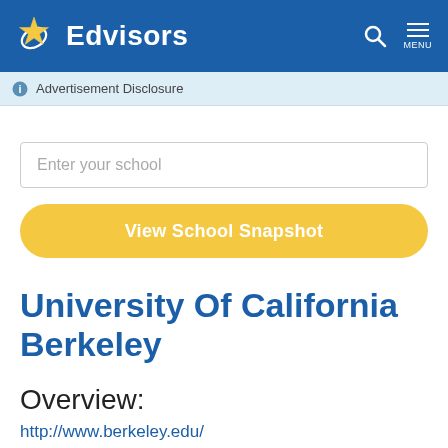Edvisors
Advertisement Disclosure
Enter your school
View School Snapshot
University Of California Berkeley
Overview:
http://www.berkeley.edu/